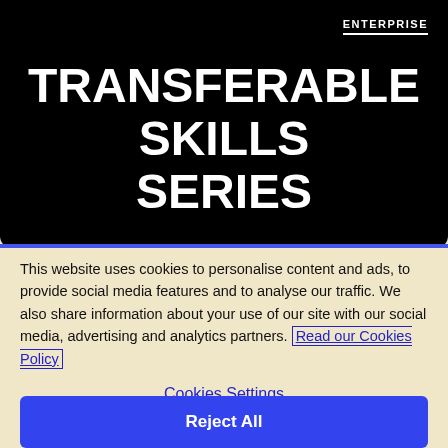[Figure (screenshot): Black hero banner with 'ENTERPRISE' label in top right and large white bold text 'TRANSFERABLE SKILLS SERIES' centered on dark background]
This website uses cookies to personalise content and ads, to provide social media features and to analyse our traffic. We also share information about your use of our site with our social media, advertising and analytics partners. Read our Cookies Policy
Cookies Settings
Reject All